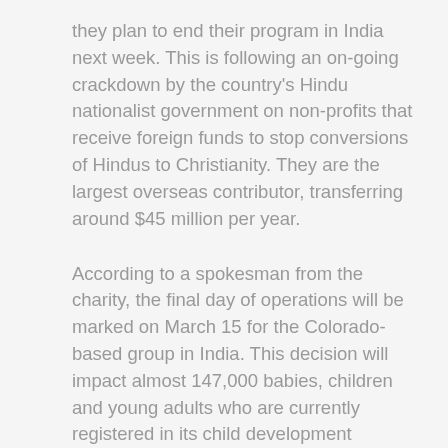they plan to end their program in India next week. This is following an on-going crackdown by the country's Hindu nationalist government on non-profits that receive foreign funds to stop conversions of Hindus to Christianity. They are the largest overseas contributor, transferring around $45 million per year.
According to a spokesman from the charity, the final day of operations will be marked on March 15 for the Colorado-based group in India. This decision will impact almost 147,000 babies, children and young adults who are currently registered in its child development programs, and 127 staff alike.